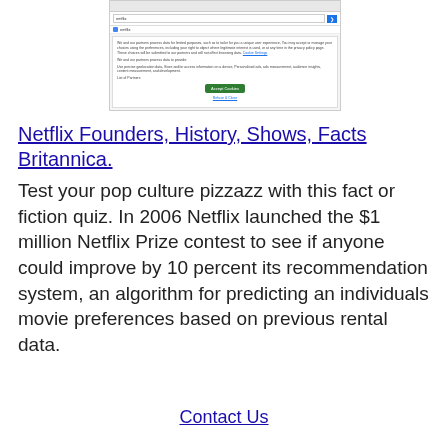[Figure (screenshot): Screenshot of a web browser showing a Netflix search result with a cookie consent modal dialog containing an 'Accept Cookies' button and a 'Refuse & Close' link]
Netflix Founders, History, Shows, Facts Britannica.
Test your pop culture pizzazz with this fact or fiction quiz. In 2006 Netflix launched the $1 million Netflix Prize contest to see if anyone could improve by 10 percent its recommendation system, an algorithm for predicting an individuals movie preferences based on previous rental data.
Contact Us